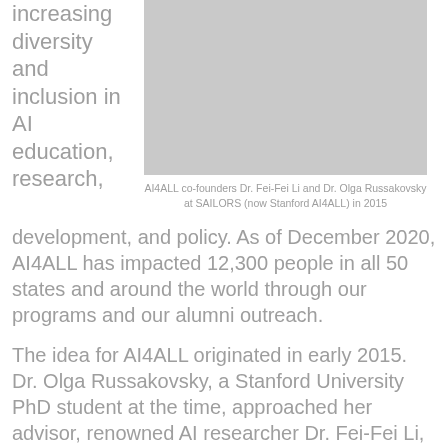increasing diversity and inclusion in AI education, research,
[Figure (photo): AI4ALL co-founders Dr. Fei-Fei Li and Dr. Olga Russakovsky posing together at SAILORS (now Stanford AI4ALL) in 2015]
AI4ALL co-founders Dr. Fei-Fei Li and Dr. Olga Russakovsky at SAILORS (now Stanford AI4ALL) in 2015
development, and policy. As of December 2020, AI4ALL has impacted 12,300 people in all 50 states and around the world through our programs and our alumni outreach.
The idea for AI4ALL originated in early 2015. Dr. Olga Russakovsky, a Stanford University PhD student at the time, approached her advisor, renowned AI researcher Dr. Fei-Fei Li, with an idea for how to create more access for underrepresented people in the field of artificial intelligence. Later that year, along with Dr. Rick Sommer–Executive Director of Stanford Pre-Collegiate Studies–the trio founded SAILORS. This program would be the first of its